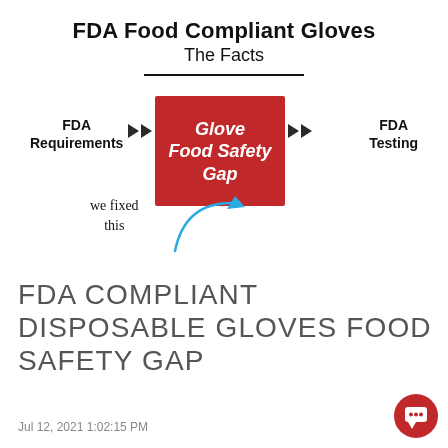FDA Food Compliant Gloves
The Facts
[Figure (flowchart): Flowchart showing FDA Requirements -> Glove Food Safety Gap -> FDA Testing, with a curved arrow labeled 'we fixed this' pointing to the red center box]
FDA COMPLIANT DISPOSABLE GLOVES FOOD SAFETY GAP
Jul 12, 2021 1:02:15 PM